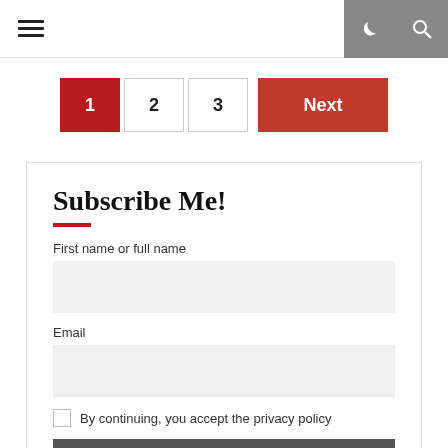☰  [navigation icons]
1  2  3  Next
Subscribe Me!
First name or full name
Email
By continuing, you accept the privacy policy
Subscribe